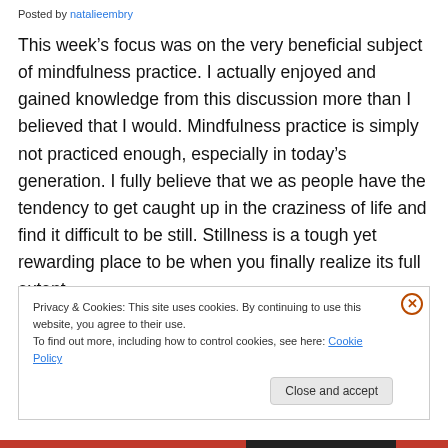Posted by natalieembry
This week's focus was on the very beneficial subject of mindfulness practice. I actually enjoyed and gained knowledge from this discussion more than I believed that I would. Mindfulness practice is simply not practiced enough, especially in today's generation. I fully believe that we as people have the tendency to get caught up in the craziness of life and find it difficult to be still. Stillness is a tough yet rewarding place to be when you finally realize its full extent.
Privacy & Cookies: This site uses cookies. By continuing to use this website, you agree to their use.
To find out more, including how to control cookies, see here: Cookie Policy
Close and accept